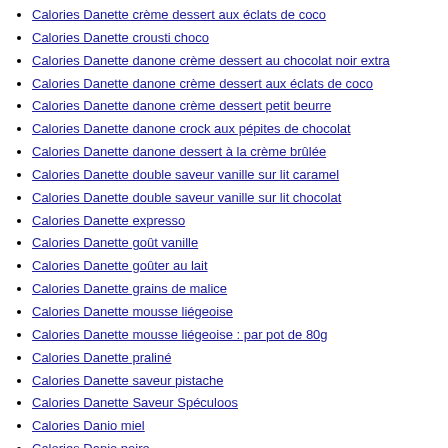Calories Danette crème dessert aux éclats de coco
Calories Danette crousti choco
Calories Danette danone crème dessert au chocolat noir extra
Calories Danette danone crème dessert aux éclats de coco
Calories Danette danone crème dessert petit beurre
Calories Danette danone crock aux pépites de chocolat
Calories Danette danone dessert à la crème brûlée
Calories Danette double saveur vanille sur lit caramel
Calories Danette double saveur vanille sur lit chocolat
Calories Danette expresso
Calories Danette goût vanille
Calories Danette goûter au lait
Calories Danette grains de malice
Calories Danette mousse liégeoise
Calories Danette mousse liégeoise : par pot de 80g
Calories Danette praliné
Calories Danette saveur pistache
Calories Danette Saveur Spéculoos
Calories Danio miel
Calories Danio poire